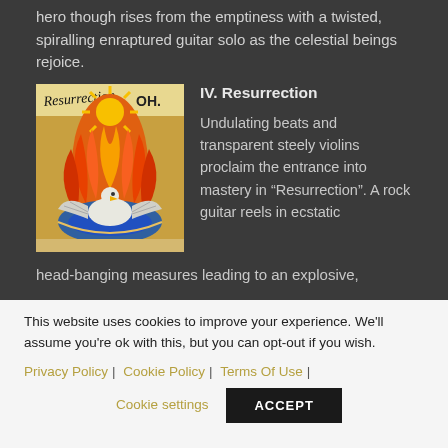hero though rises from the emptiness with a twisted, spiralling enraptured guitar solo as the celestial beings rejoice.
[Figure (illustration): Album cover for 'Resurrection' by OH. showing a phoenix bird rising from flames in a decorative medieval manuscript style illustration, with text 'Resurrection' in script and 'OH.' printed at top right.]
IV. Resurrection
Undulating beats and transparent steely violins proclaim the entrance into mastery in “Resurrection”. A rock guitar reels in ecstatic head-banging measures leading to an explosive,
This website uses cookies to improve your experience. We'll assume you're ok with this, but you can opt-out if you wish.
Privacy Policy | Cookie Policy | Terms Of Use | Cookie settings
ACCEPT